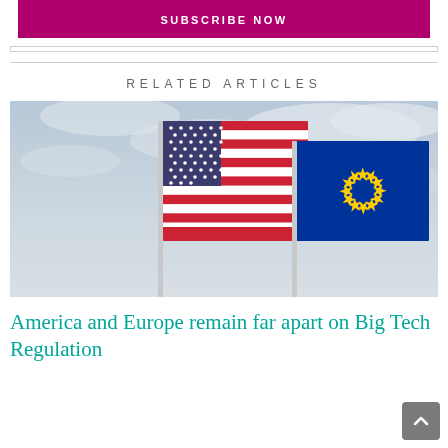SUBSCRIBE NOW
RELATED ARTICLES
[Figure (photo): Photograph of an American flag and a European Union flag flying side by side on poles against a cloudy sky]
America and Europe remain far apart on Big Tech Regulation